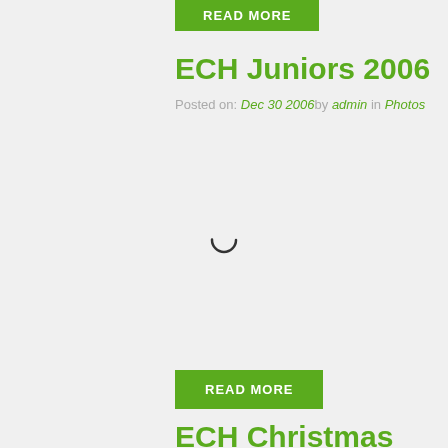[Figure (other): Green READ MORE button at top of page (partially visible)]
ECH Juniors 2006
Posted on: Dec 30 2006 by admin in Photos
[Figure (other): Loading spinner icon in center of content area]
[Figure (other): Green READ MORE button]
ECH Christmas